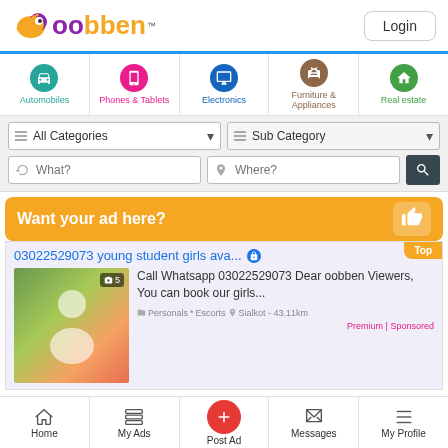[Figure (logo): Oobben logo with bird icon and Login button]
[Figure (infographic): Category navigation: Automobiles, Phones & Tablets, Electronics, Furniture & Appliances, Real estate]
[Figure (screenshot): Search bar with All Categories dropdown, Sub Category dropdown, What? input, Where? input, and search button]
[Figure (infographic): Orange banner: Want your ad here? with thumbs up icon]
03022529073 young student girls ava...
Call Whatsapp 03022529073 Dear oobben Viewers, You can book our girls...
Personals * Escorts  Sialkot - 43.11km
Premium | Sponsored
[Figure (infographic): Bottom navigation: Home, My Ads, Post Ad, Messages, My Profile]